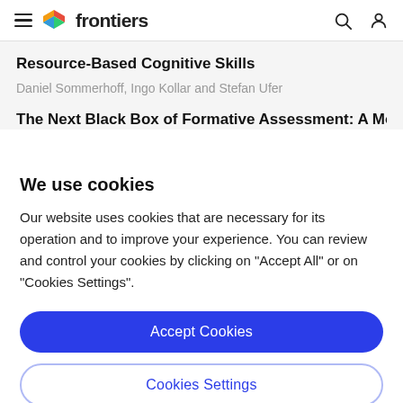frontiers
Resource-Based Cognitive Skills
Daniel Sommerhoff, Ingo Kollar and Stefan Ufer
The Next Black Box of Formative Assessment: A Model
We use cookies
Our website uses cookies that are necessary for its operation and to improve your experience. You can review and control your cookies by clicking on "Accept All" or on "Cookies Settings".
Accept Cookies
Cookies Settings